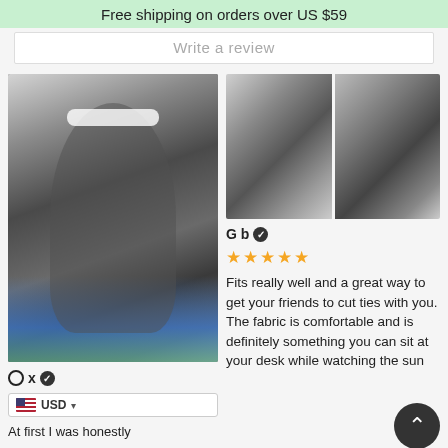Free shipping on orders over US $59
Write a review
[Figure (photo): Customer mirror selfie wearing black and white printed hoodie with face graphic]
Ox ✓
USD
At first I was honestly
[Figure (photo): Two side-by-side photos of customer wearing black and white panda-print hoodie]
Gb ✓
★★★★★
Fits really well and a great way to get your friends to cut ties with you. The fabric is comfortable and is definitely something you can sit at your desk while watching the sun